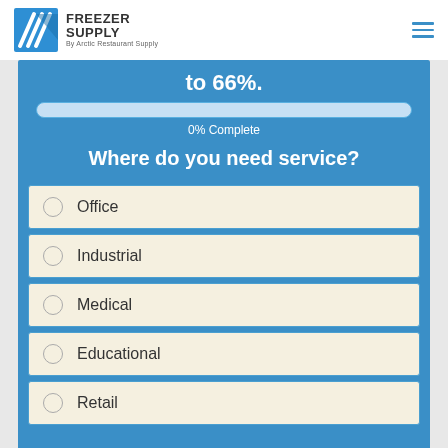FREEZER SUPPLY By Arctic Restaurant Supply
to 66%.
0% Complete
Where do you need service?
Office
Industrial
Medical
Educational
Retail